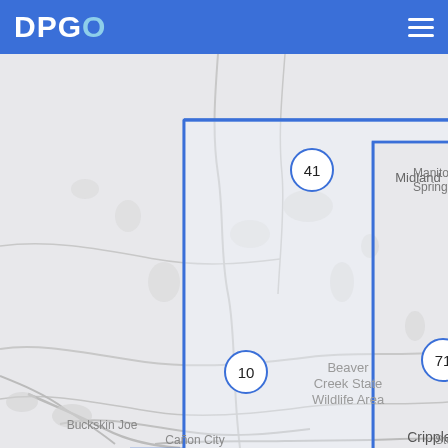DPGO
[Figure (map): Map showing a region in Colorado near Cripple Creek, Victor, Midland, Manitou Springs, Buckskin Joe, Canon City, and Beaver Creek State Wildlife Area. Blue boundary lines outline a service area. Numbered circle markers indicate: 41 (northwest area), 27 (near Midland), 10 (west edge), 71 (central), 35 (near Victor).]